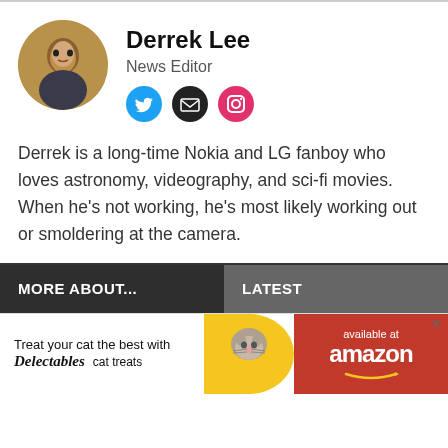[Figure (photo): Circular avatar photo of Derrek Lee]
Derrek Lee
News Editor
[Figure (other): Social media icons: Twitter (blue circle), Email (black circle), Instagram (pink circle)]
Derrek is a long-time Nokia and LG fanboy who loves astronomy, videography, and sci-fi movies. When he's not working, he's most likely working out or smoldering at the camera.
MORE ABOUT...
LATEST
[Figure (other): Advertisement banner: Treat your cat the best with Delectables cat treats — available at amazon]